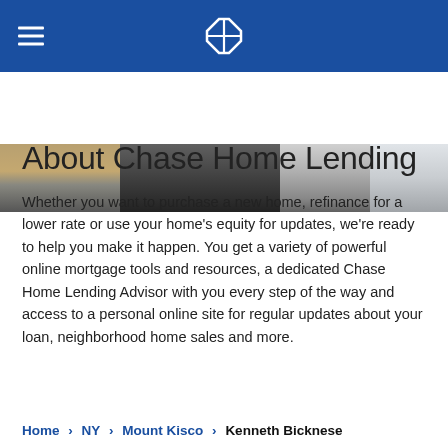Chase Home Lending — navigation header with Chase logo
[Figure (photo): Cropped photo showing people moving boxes and legs walking, partial interior scene]
About Chase Home Lending
Whether you want to purchase a new home, refinance for a lower rate or use your home's equity for updates, we're ready to help you make it happen. You get a variety of powerful online mortgage tools and resources, a dedicated Chase Home Lending Advisor with you every step of the way and access to a personal online site for regular updates about your loan, neighborhood home sales and more.
Home > NY > Mount Kisco > Kenneth Bicknese